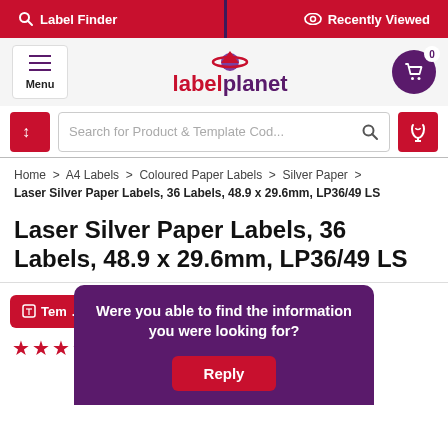Label Finder   Recently Viewed
[Figure (logo): Label Planet logo with hamburger menu and shopping cart]
Search for Product & Template Cod...
Home > A4 Labels > Coloured Paper Labels > Silver Paper > Laser Silver Paper Labels, 36 Labels, 48.9 x 29.6mm, LP36/49 LS
Laser Silver Paper Labels, 36 Labels, 48.9 x 29.6mm, LP36/49 LS
Were you able to find the information you were looking for?
Reply